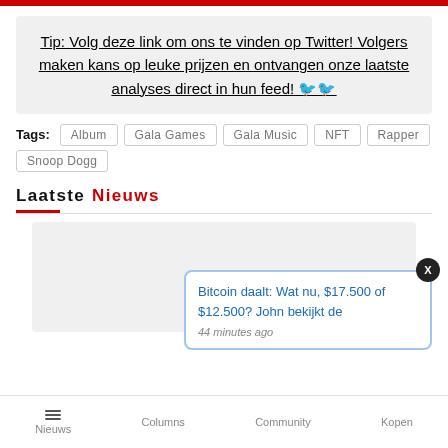Tip: Volg deze link om ons te vinden op Twitter! Volgers maken kans op leuke prijzen en ontvangen onze laatste analyses direct in hun feed! 🐦🐦
Tags: Album  Gala Games  Gala Music  NFT  Rapper  Snoop Dogg
Laatste Nieuws
Bitcoin daalt: Wat nu, $17.500 of $12.500? John bekijkt de
44 minutes ago
Nieuws  Columns  Community  Kopen